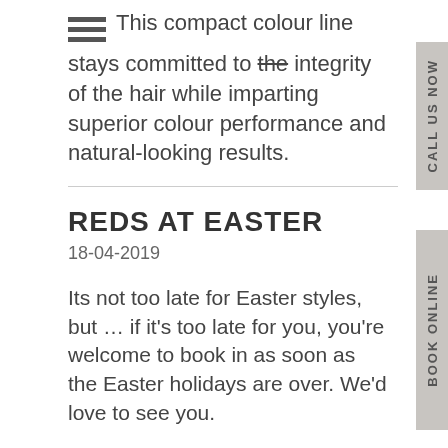ingredients that are suitable for all hair types. This compact colour line stays committed to the integrity of the hair while imparting superior colour performance and natural-looking results.
REDS AT EASTER
18-04-2019
Its not too late for Easter styles, but … if it's too late for you, you're welcome to book in as soon as the Easter holidays are over. We'd love to see you.